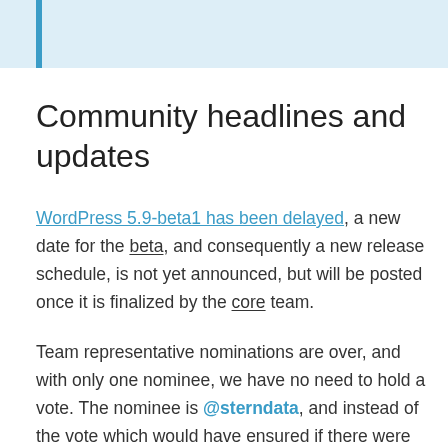Community headlines and updates
WordPress 5.9-beta1 has been delayed, a new date for the beta, and consequently a new release schedule, is not yet announced, but will be posted once it is finalized by the core team.
Team representative nominations are over, and with only one nominee, we have no need to hold a vote. The nominee is @sterndata, and instead of the vote which would have ensured if there were multiple nominees, we will instead have a ~2 week period in which any concerns can be raised, this can also be done privately to @clorith. If no